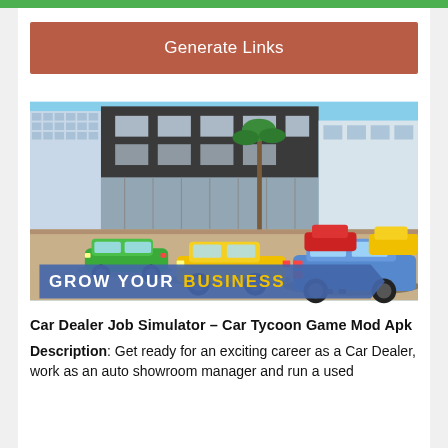[Figure (screenshot): Green top navigation bar of a mobile app]
[Figure (other): Generate Links button with brown/terracotta background]
[Figure (screenshot): Car Dealer Job Simulator game screenshot showing colorful cars (green, yellow, blue) in front of a modern building with text overlay 'GROW YOUR BUSINESS' on a blue banner]
Car Dealer Job Simulator – Car Tycoon Game Mod Apk
Description: Get ready for an exciting career as a Car Dealer, work as an auto showroom manager and run a used